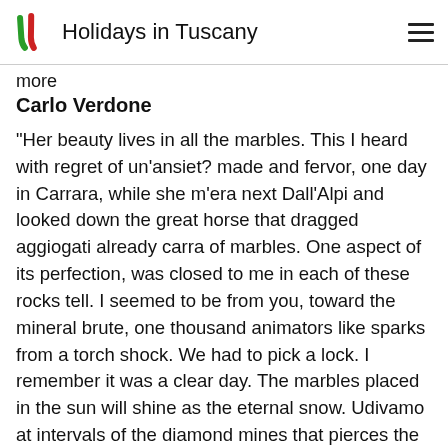Holidays in Tuscany
more
Carlo Verdone
"Her beauty lives in all the marbles. This I heard with regret of un'ansiet? made and fervor, one day in Carrara, while she m'era next Dall'Alpi and looked down the great horse that dragged aggiogati already carra of marbles. One aspect of its perfection, was closed to me in each of these rocks tell. I seemed to be from you, toward the mineral brute, one thousand animators like sparks from a torch shock. We had to pick a lock. I remember it was a clear day. The marbles placed in the sun will shine as the eternal snow. Udivamo at intervals of the diamond mines that pierces the silent depths of the mountain